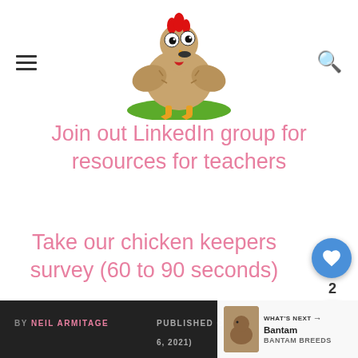[Figure (illustration): Cartoon chicken illustration with wide eyes, open beak, red comb, spread wings, and yellow feet standing on a green oval ground patch]
Join out LinkedIn group for resources for teachers
Take our chicken keepers survey (60 to 90 seconds)
BY NEIL ARMITAGE   PUBLISHED ON 6, 2021   WHAT'S NEXT → Bantam